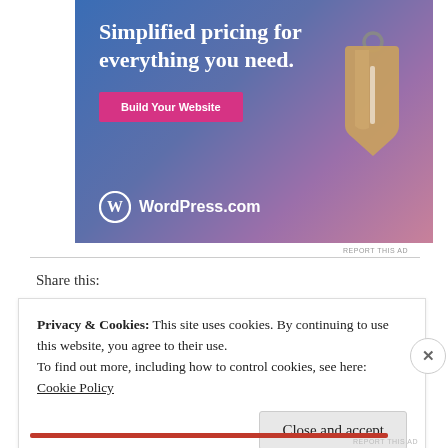[Figure (illustration): WordPress.com advertisement banner with blue-to-purple gradient background, showing a price tag image, text 'Simplified pricing for everything you need.', a pink 'Build Your Website' button, and the WordPress.com logo at the bottom.]
REPORT THIS AD
Share this:
Privacy & Cookies: This site uses cookies. By continuing to use this website, you agree to their use.
To find out more, including how to control cookies, see here:
Cookie Policy
Close and accept